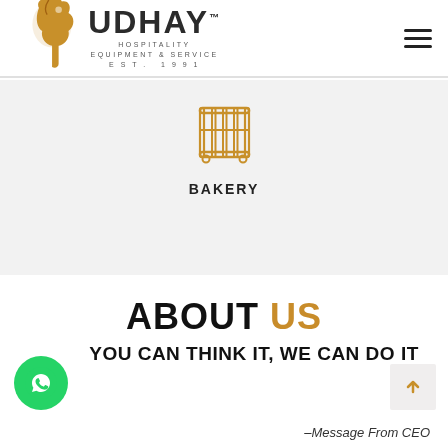UDHAY HOSPITALITY EQUIPMENT & SERVICE EST. 1991
[Figure (logo): Udhay Hospitality Equipment & Service logo with golden horse/griffin icon and stylized text, EST. 1991]
[Figure (illustration): Orange/golden bakery rack/shelf icon]
BAKERY
ABOUT US
YOU CAN THINK IT, WE CAN DO IT
–Message From CEO